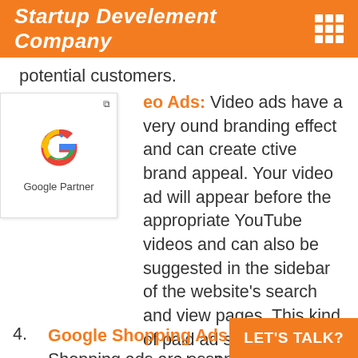Startup Develement Company
potential customers.
[Figure (logo): Google Partner badge with Google G logo]
Video Ads: Video ads have a very profound branding effect and can create effective brand appeal. Your video ad will appear before the appropriate YouTube videos and can also be suggested in the sidebar of the website's search and view pages. This kind of paid ad service also provide all adwords agency in Paschim Bardhaman.
Google Shopping Ads: Google Shopping ads are essential for online retail marketing activities.